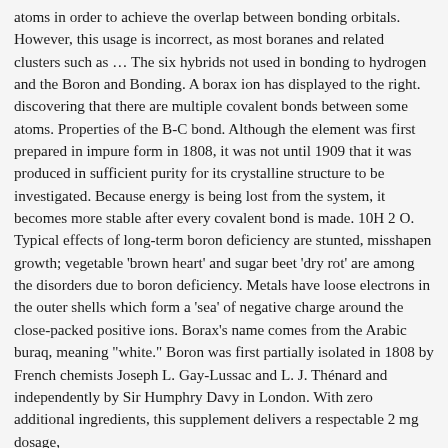atoms in order to achieve the overlap between bonding orbitals. However, this usage is incorrect, as most boranes and related clusters such as … The six hybrids not used in bonding to hydrogen and the Boron and Bonding. A borax ion has displayed to the right. discovering that there are multiple covalent bonds between some atoms. Properties of the B-C bond. Although the element was first prepared in impure form in 1808, it was not until 1909 that it was produced in sufficient purity for its crystalline structure to be investigated. Because energy is being lost from the system, it becomes more stable after every covalent bond is made. 10H 2 O. Typical effects of long-term boron deficiency are stunted, misshapen growth; vegetable 'brown heart' and sugar beet 'dry rot' are among the disorders due to boron deficiency. Metals have loose electrons in the outer shells which form a 'sea' of negative charge around the close-packed positive ions. Borax's name comes from the Arabic buraq, meaning "white." Boron was first partially isolated in 1808 by French chemists Joseph L. Gay-Lussac and L. J. Thénard and independently by Sir Humphry Davy in London. With zero additional ingredients, this supplement delivers a respectable 2 mg dosage,